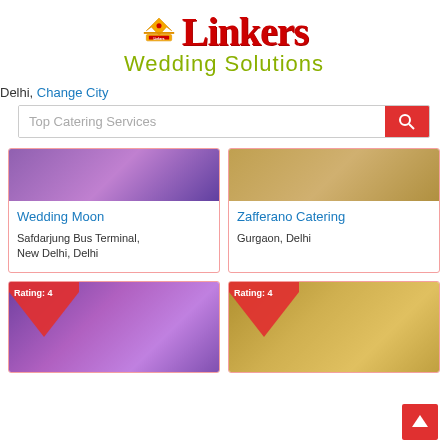[Figure (logo): Linkers Wedding Solutions logo with crown icon, red serif Linkers text and olive/yellow-green Wedding Solutions text]
Delhi, Change City
Top Catering Services
[Figure (photo): Partially visible photo of wedding venue with purple lighting]
[Figure (photo): Partially visible photo of wedding catering setup]
Wedding Moon
Safdarjung Bus Terminal, New Delhi, Delhi
Zafferano Catering
Gurgaon, Delhi
[Figure (photo): Wedding event photo with purple lighting and crowd, Rating:4 badge]
[Figure (photo): Wedding venue with golden draping decorations, Rating:4 badge]